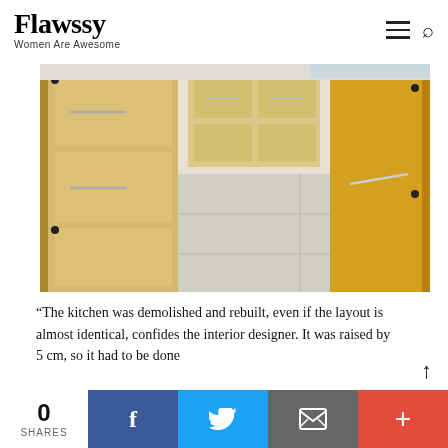Flawssy — Women Are Awesome
[Figure (photo): Interior view of a narrow kitchen corridor with light wood cabinets on both sides and a yellow accent panel on the right, grey tiled floor]
“The kitchen was demolished and rebuilt, even if the layout is almost identical, confides the interior designer. It was raised by 5 cm, so it had to be done
0 SHARES | Facebook | Twitter | Email | +